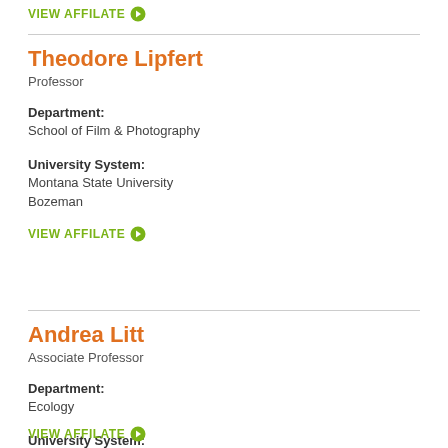VIEW AFFILATE →
Theodore Lipfert
Professor
Department:
School of Film & Photography
University System:
Montana State University
Bozeman
VIEW AFFILATE →
Andrea Litt
Associate Professor
Department:
Ecology
University System:
Montana State University
Bozeman
VIEW AFFILATE →